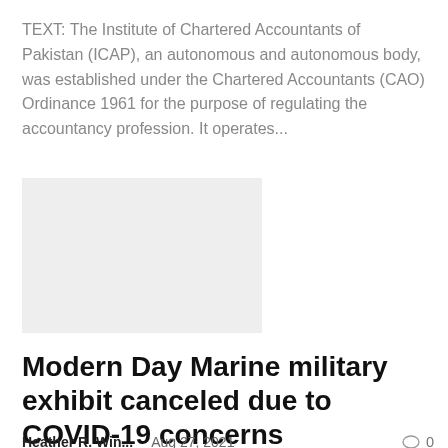TEXT: The Institute of Chartered Accountants of Pakistan (ICAP), an autonomous and autonomous body, was established under the Chartered Accountants (CAO) Ordinance 1961 for the purpose of regulating the accountancy profession. It operates...
[Figure (photo): Light grey rectangular image placeholder]
Modern Day Marine military exhibit canceled due to COVID-19 concerns
Heather R. Win...   Aug 27, 2021   ○ 0
For the first time in 40 years of history, the Modern Day Marine